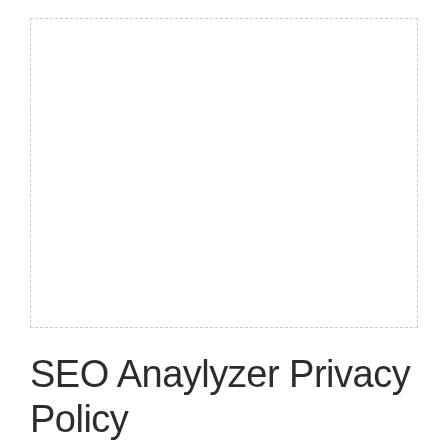[Figure (other): Empty white rectangular image placeholder with a dashed border]
SEO Anaylyzer Privacy Policy